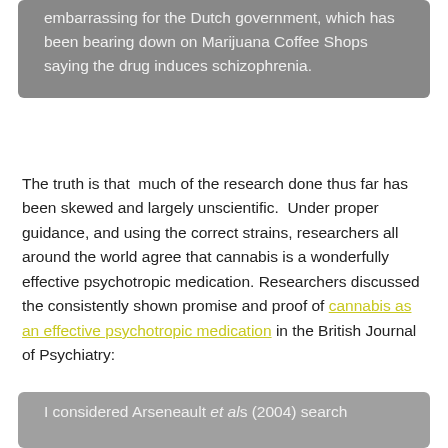embarrassing for the Dutch government, which has been bearing down on Marijuana Coffee Shops saying the drug induces schizophrenia.
The truth is that  much of the research done thus far has been skewed and largely unscientific.  Under proper guidance, and using the correct strains, researchers all around the world agree that cannabis is a wonderfully effective psychotropic medication. Researchers discussed the consistently shown promise and proof of cannabis as an effective psychotropic medication in the British Journal of Psychiatry:
I considered Arseneault et al's (2004) search